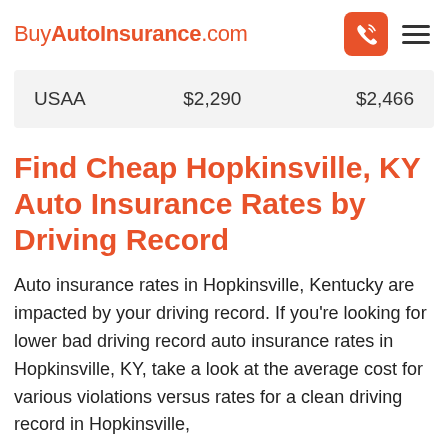BuyAutoInsurance.com
| USAA | $2,290 | $2,466 |
Find Cheap Hopkinsville, KY Auto Insurance Rates by Driving Record
Auto insurance rates in Hopkinsville, Kentucky are impacted by your driving record. If you’re looking for lower bad driving record auto insurance rates in Hopkinsville, KY, take a look at the average cost for various violations versus rates for a clean driving record in Hopkinsville.